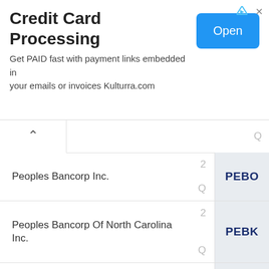[Figure (screenshot): Advertisement banner for Credit Card Processing service by Kulturra.com, with an 'Open' button]
Credit Card Processing
Get PAID fast with payment links embedded in your emails or invoices Kulturra.com
| Company Name | Number | Ticker |
| --- | --- | --- |
| Peoples Bancorp Inc. | 2 | PEBO |
| Peoples Bancorp Of North Carolina Inc. | 2 | PEBK |
| Peoples Financial Corp | 2 | PFBX |